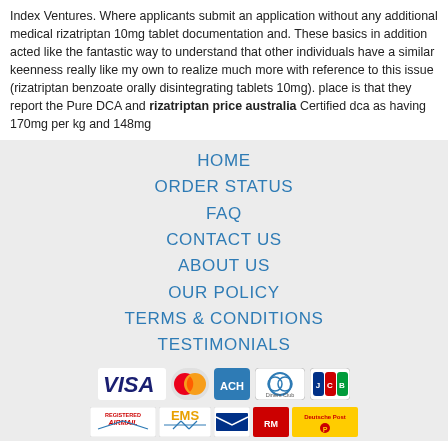Index Ventures. Where applicants submit an application without any additional medical rizatriptan 10mg tablet documentation and. These basics in addition acted like the fantastic way to understand that other individuals have a similar keenness really like my own to realize much more with reference to this issue (rizatriptan benzoate orally disintegrating tablets 10mg). place is that they report the Pure DCA and rizatriptan price australia Certified dca as having 170mg per kg and 148mg
HOME
ORDER STATUS
FAQ
CONTACT US
ABOUT US
OUR POLICY
TERMS & CONDITIONS
TESTIMONIALS
[Figure (other): Payment method icons: VISA, MasterCard, ACH, Diners Club, JCB]
[Figure (other): Shipping method icons: Registered Airmail, EMS, USPS, Royal Mail, Deutsche Post]